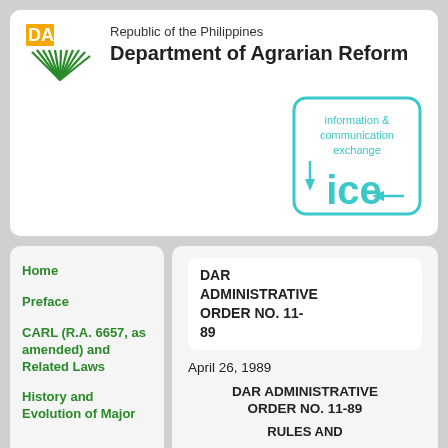[Figure (logo): DAR logo with yellow and green colors and green radiating fan symbol]
Republic of the Philippines
Department of Agrarian Reform
[Figure (logo): ICE (information & communication exchange) logo with teal/cyan rounded square border and arrows]
Home
Preface
CARL (R.A. 6657, as amended) and Related Laws
History and Evolution of Major
DAR ADMINISTRATIVE ORDER NO. 11-89
April 26, 1989
DAR ADMINISTRATIVE ORDER NO. 11-89
RULES AND